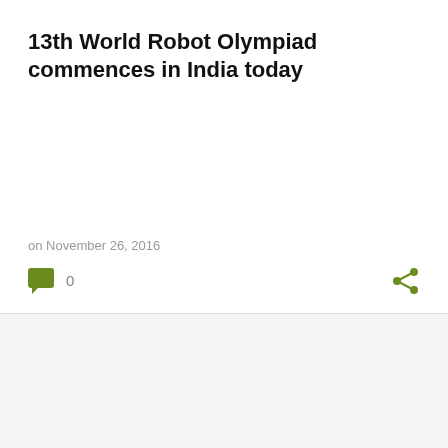13th World Robot Olympiad commences in India today
on November 26, 2016
0
Tookan partners with PayLo to tackle the implications of demonetisation on its customers